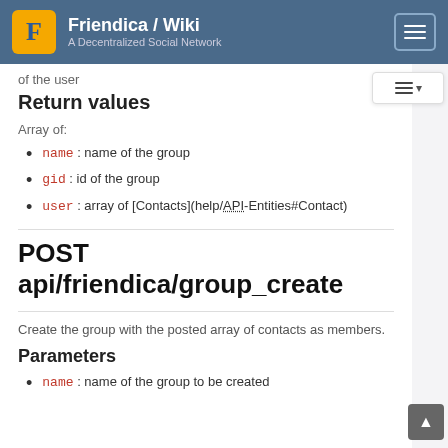Friendica / Wiki — A Decentralized Social Network
of the user
Return values
Array of:
name : name of the group
gid : id of the group
user : array of [Contacts](help/API-Entities#Contact)
POST api/friendica/group_create
Create the group with the posted array of contacts as members.
Parameters
name : name of the group to be created